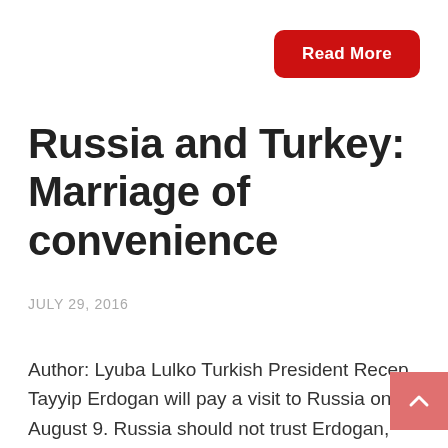[Figure (other): Red 'Read More' button with rounded corners, white bold text]
Russia and Turkey: Marriage of convenience
JULY 29, 2016
Author: Lyuba Lulko Turkish President Recep Tayyip Erdogan will pay a visit to Russia on August 9. Russia should not trust Erdogan, but one may have no doubt about the fact that the Turkish president is now trying to improve Turkey's relations with Russia. This makes Turkey Russia's ally in the endeavor to split the consolidated position of the West.